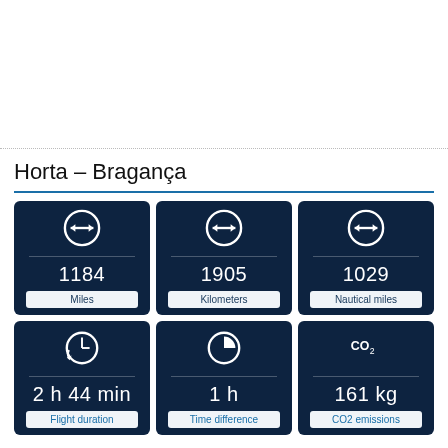[Figure (illustration): White empty map/image area at the top of the page]
Horta – Bragança
| Metric | Value | Unit |
| --- | --- | --- |
| Distance | 1184 | Miles |
| Distance | 1905 | Kilometers |
| Distance | 1029 | Nautical miles |
| Flight duration | 2 h 44 min |  |
| Time difference | 1 h |  |
| CO2 emissions | 161 kg | CO2 emissions |